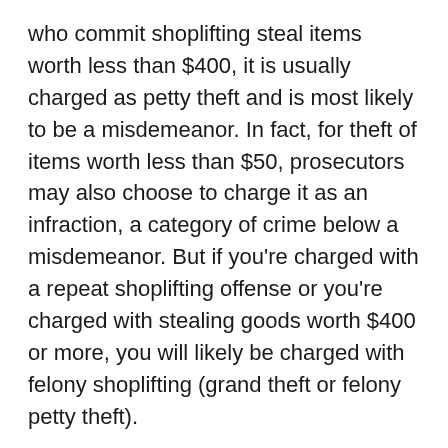who commit shoplifting steal items worth less than $400, it is usually charged as petty theft and is most likely to be a misdemeanor. In fact, for theft of items worth less than $50, prosecutors may also choose to charge it as an infraction, a category of crime below a misdemeanor. But if you're charged with a repeat shoplifting offense or you're charged with stealing goods worth $400 or more, you will likely be charged with felony shoplifting (grand theft or felony petty theft).
Shoplifting is one of the most common theft crimes in California. Teenagers testing their boundaries and older folks who simply forget to pay are two groups commonly charged with shoplifting. Other commonly charged groups are people who steal for psychological (rather than financial) reasons and people who have substance abuse problems. Severe criminal charges and jail time may not be appropriate for these offenders. Our experienced California shoplifting defense attorneys can make a substantial difference, especially if they